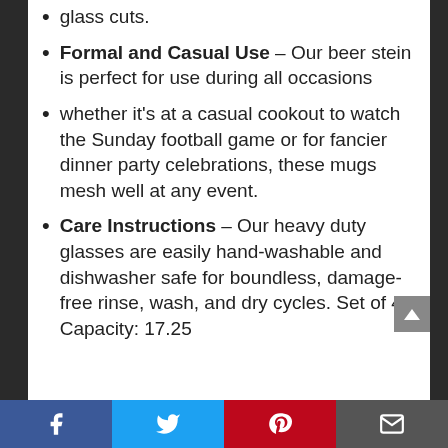glass cuts.
Formal and Casual Use – Our beer stein is perfect for use during all occasions
whether it's at a casual cookout to watch the Sunday football game or for fancier dinner party celebrations, these mugs mesh well at any event.
Care Instructions – Our heavy duty glasses are easily hand-washable and dishwasher safe for boundless, damage-free rinse, wash, and dry cycles. Set of 4. Capacity: 17.25